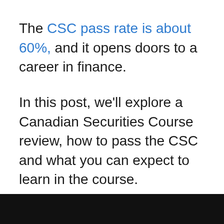The CSC pass rate is about 60%, and it opens doors to a career in finance.
In this post, we'll explore a Canadian Securities Course review, how to pass the CSC and what you can expect to learn in the course.
We'll also dispel some of the myths that often keep people from signing up for the CSC and share some tips on how to make the most of your learning experience.